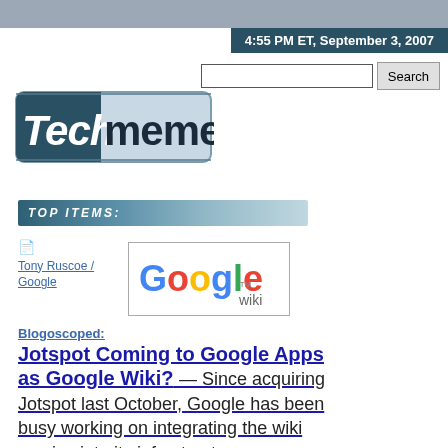4:55 PM ET, September 3, 2007
[Figure (logo): Techmeme logo — 'Tech' in white italic on dark teal background, 'meme' in dark bold on light blue background]
TOP ITEMS:
Tony Ruscoe / Google
[Figure (screenshot): Google wiki logo image in a bordered box]
Blogoscoped:
Jotspot Coming to Google Apps as Google Wiki? — Since acquiring Jotspot last October, Google has been busy working on integrating the wiki service into its infrastructure